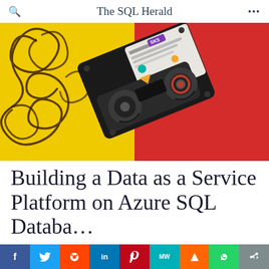The SQL Herald
[Figure (photo): A split background (left yellow, right red) with unspooled magnetic tape on the yellow half and a cassette tape tilted diagonally across both halves]
Building a Data as a Service Platform on Azure SQL Databa...
f  Twitter  Reddit  in  Pinterest  MW  Mix  WhatsApp  Share